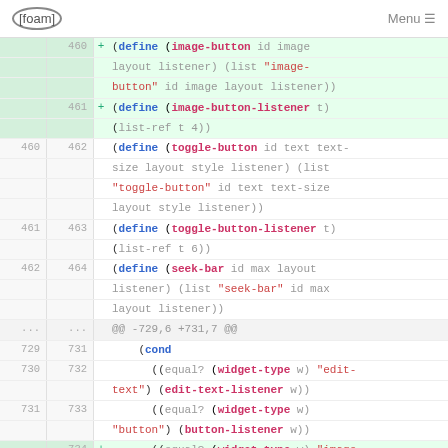[foam] Menu
[Figure (screenshot): Code diff view showing Scheme/Lisp code changes. Lines 460-462 show added image-button and image-button-listener definitions in green. Lines 460-464 show toggle-button, toggle-button-listener, seek-bar definitions. A diff hunk header @@ -729,6 +731,7 @@ separates sections. Lines 729-734 show cond expressions with equal?, widget-type, edit-text-listener, button-listener calls.]